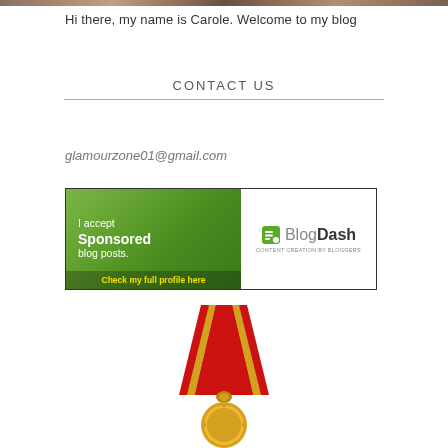[Figure (photo): Partial photo strip at the top of the page, showing a person]
Hi there, my name is Carole. Welcome to my blog
CONTACT US
glamourzone01@gmail.com
[Figure (illustration): BlogDash banner: 'I accept Sponsored blog posts. Check my full profile here.' with BlogDash logo on the right side.]
[Figure (illustration): Gold medal with red and gold ribbon, partially visible at the bottom of the page]